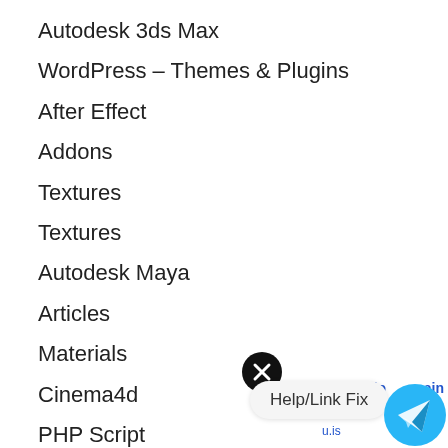Autodesk 3ds Max
WordPress – Themes & Plugins
After Effect
Addons
Textures
Textures
Autodesk Maya
Articles
Materials
Cinema4d
PHP Script
[Figure (other): Close/dismiss button (black circle with X)]
Help/Link Fix
Utopia Blockchain
fea
is with
u.is